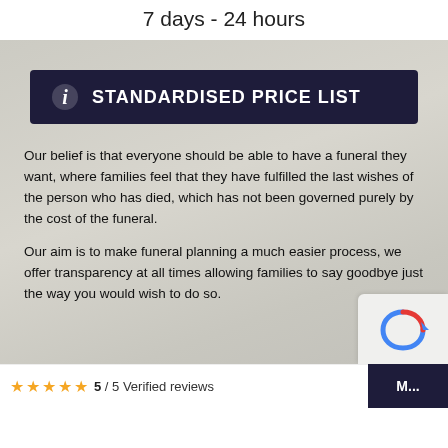7 days - 24 hours
[Figure (other): Dark navy button with italic 'i' icon and text 'STANDARDISED PRICE LIST' on a soft grey floral background]
Our belief is that everyone should be able to have a funeral they want, where families feel that they have fulfilled the last wishes of the person who has died, which has not been governed purely by the cost of the funeral.
Our aim is to make funeral planning a much easier process, we offer transparency at all times allowing families to say goodbye just the way you would wish to do so.
5 / 5 Verified reviews